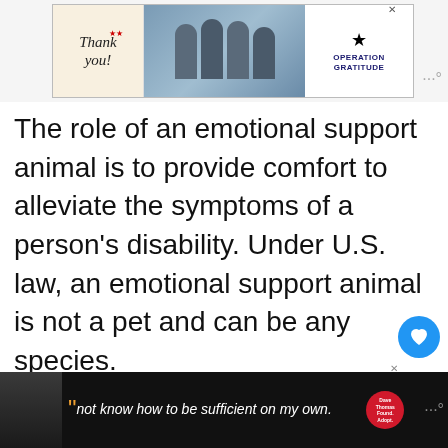[Figure (photo): Advertisement banner at top: 'Thank you!' handwritten text with American flag motif, group photo of masked healthcare workers holding cards, Operation Gratitude logo with star. Close (X) button top right.]
The role of an emotional support animal is to provide comfort to alleviate the symptoms of a person's disability. Under U.S. law, an emotional support animal is not a pet and can be any species.
Emotional support and service animals are 111 different.
There is no specific training required for emotional support animals, nor do they need to
[Figure (other): What's Next panel: thumbnail image of person, label 'WHAT'S NEXT →', title text 'Reasons Why Becoming A...']
[Figure (photo): Bottom advertisement: black background with person in winter hat, large quote marks, text 'not know how to be sufficient on my own.' Dave Thomas Foundation for Adoption logo (red circle). Close (X) button.]